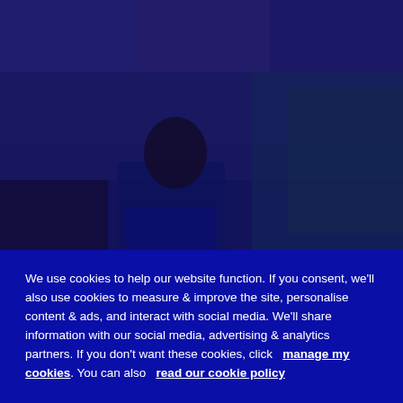[Figure (photo): A footballer in a blue Chelsea kit running on a pitch, with a blurred crowd in the background. The image has a dark blue/purple tint overlay.]
We use cookies to help our website function. If you consent, we'll also use cookies to measure & improve the site, personalise content & ads, and interact with social media. We'll share information with our social media, advertising & analytics partners. If you don't want these cookies, click   manage my cookies. You can also   read our cookie policy